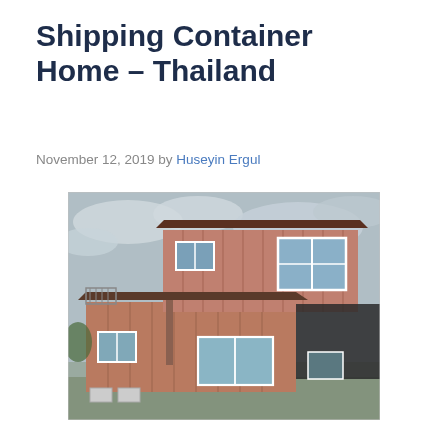Shipping Container Home – Thailand
November 12, 2019 by Huseyin Ergul
[Figure (photo): A two-story shipping container home with reddish-brown corrugated metal siding, white-framed windows, and a sloped roof overhang, photographed against a cloudy sky.]